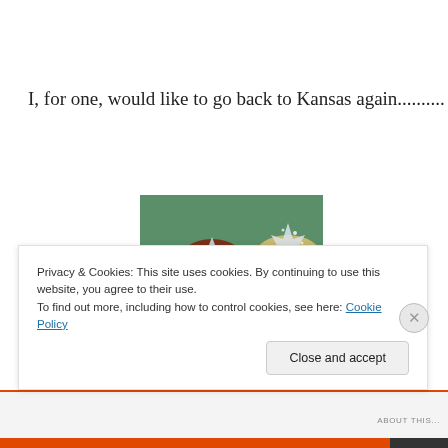I, for one, would like to go back to Kansas again..........
[Figure (photo): Two women from The Wizard of Oz — Dorothy (red-haired, wearing a silver star tiara with blue bow) and Glinda the Good Witch (wearing a sparkly silver crown), in a close-up scene from the film.]
Privacy & Cookies: This site uses cookies. By continuing to use this website, you agree to their use.
To find out more, including how to control cookies, see here: Cookie Policy
Close and accept